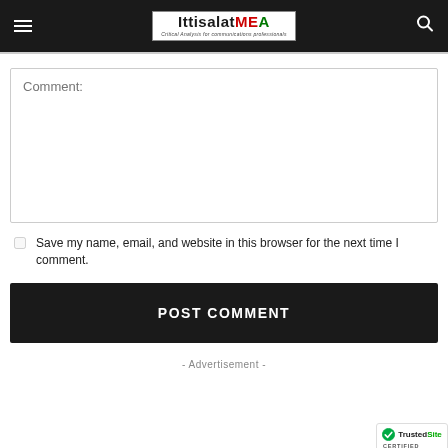IttisalatMEA - Critical Analysis for communications professionals
Comment:
Save my name, email, and website in this browser for the next time I comment.
POST COMMENT
- Advertisement -
[Figure (logo): TrustedSite Certified Secure badge with green checkmark]